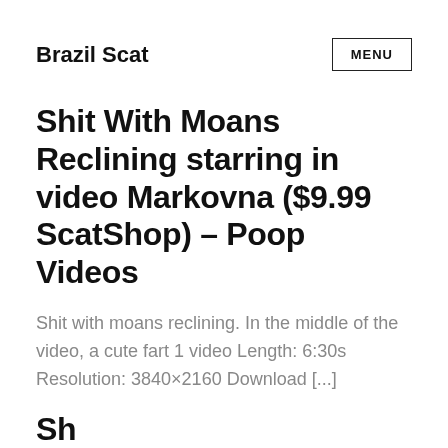Brazil Scat
Shit With Moans Reclining starring in video Markovna ($9.99 ScatShop) – Poop Videos
Shit with moans reclining. In the middle of the video, a cute fart 1 video Length: 6:30s Resolution: 3840×2160 Download [...]
...